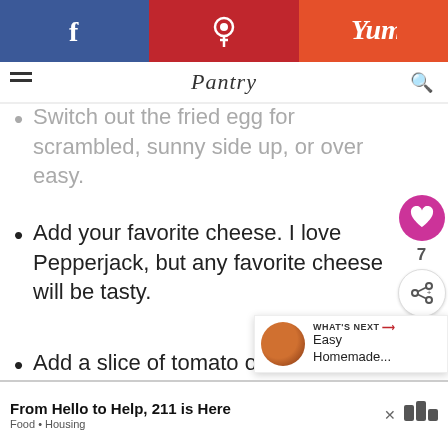[Figure (screenshot): Social sharing bar with Facebook (blue), Pinterest (red), and Yummly (orange) buttons at the top of the page]
Pantry
Switch out the fried egg for scrambled, sunny side up, or over easy.
Add your favorite cheese. I love Pepperjack, but any favorite cheese will be tasty.
Add a slice of tomato or some lettuce.
WHAT'S NEXT → Easy Homemade...
From Hello to Help, 211 is Here   Food • Housing